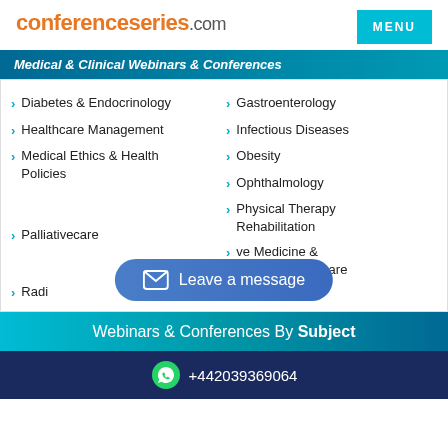conferenceseries.com
Medical & Clinical Webinars & Conferences
Diabetes & Endocrinology
Gastroenterology
Healthcare Management
Infectious Diseases
Medical Ethics & Health Policies
Obesity
Ophthalmology
Palliativecare
Physical Therapy Rehabilitation
Radiology
Reproductive Medicine & Women Healthcare
[Figure (other): Leave a message button overlay]
Webinars & Conferences By Subject
+442039369064